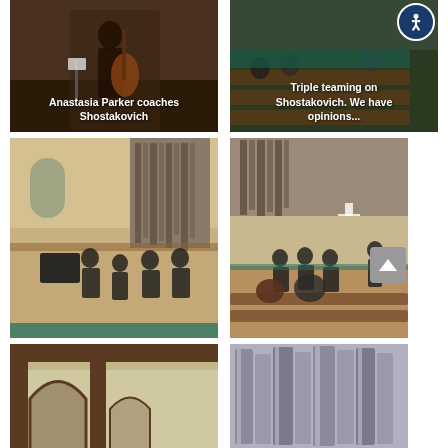[Figure (photo): Cellist being coached in a wood-paneled hall, with text overlay 'Anastasia Parker coaches Shostakovich']
[Figure (photo): Church interior with people in pews, text overlay 'Triple teaming on Shostakovich. We have opinions...']
[Figure (photo): Chamber music ensemble rehearsing on stage in church with large pipe organ in background]
[Figure (photo): Orchestra rehearsal in church with audience members seated in pews watching]
[Figure (photo): Church interior architectural detail showing arched doorways and Tudor-style woodwork]
[Figure (photo): Close-up of large church pipe organ pipes]